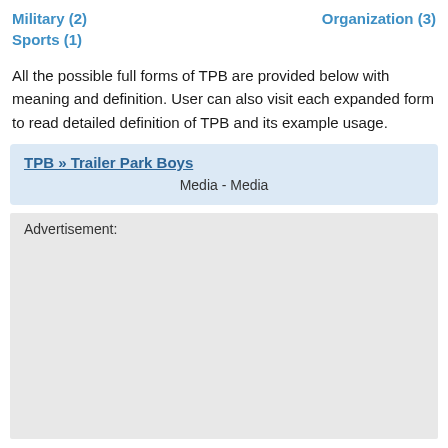Military (2)
Organization (3)
Sports (1)
All the possible full forms of TPB are provided below with meaning and definition. User can also visit each expanded form to read detailed definition of TPB and its example usage.
TPB » Trailer Park Boys
Media - Media
Advertisement: